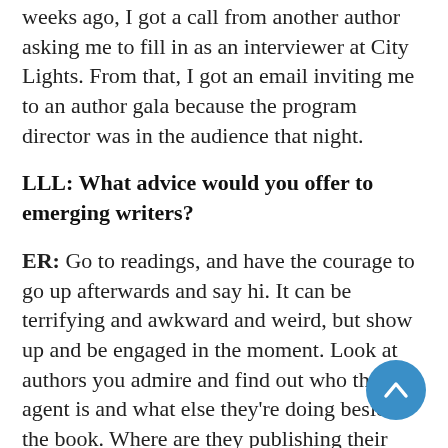weeks ago, I got a call from another author asking me to fill in as an interviewer at City Lights. From that, I got an email inviting me to an author gala because the program director was in the audience that night.
LLL: What advice would you offer to emerging writers?
ER: Go to readings, and have the courage to go up afterwards and say hi. It can be terrifying and awkward and weird, but show up and be engaged in the moment. Look at authors you admire and find out who their agent is and what else they're doing besides the book. Where are they publishing their personal essays? What blogs are they on? What interviews have they